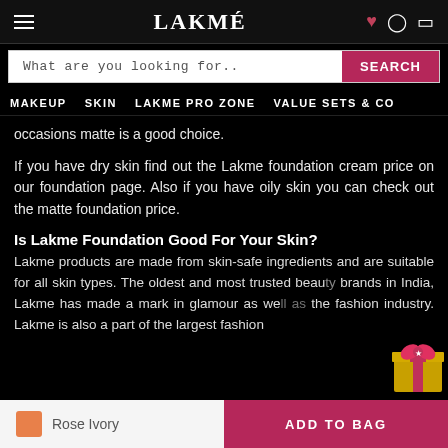LAKMÉ
What are you looking for..
MAKEUP  SKIN  LAKME PRO ZONE  VALUE SETS & CO
occasions matte is a good choice.
If you have dry skin find out the Lakme foundation cream price on our foundation page. Also if you have oily skin you can check out the matte foundation price.
Is Lakme Foundation Good For Your Skin?
Lakme products are made from skin-safe ingredients and are suitable for all skin types. The oldest and most trusted beauty brands in India, Lakme has made a mark in glamour as well as the fashion industry. Lakme is also a part of the largest fashion
Rose Ivory
ADD TO BAG